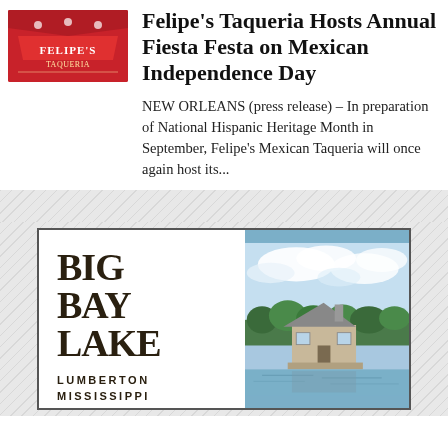[Figure (logo): Felipe's Taqueria logo — red background with decorative text/design]
Felipe's Taqueria Hosts Annual Fiesta Festa on Mexican Independence Day
NEW ORLEANS (press release) – In preparation of National Hispanic Heritage Month in September, Felipe's Mexican Taqueria will once again host its...
[Figure (illustration): Advertisement for Big Bay Lake, Lumberton Mississippi. Left side shows large serif text 'BIG BAY LAKE' with 'LUMBERTON MISSISSIPPI' below. Right side shows a photo of a lakeside cabin with cloudy sky and water reflection.]